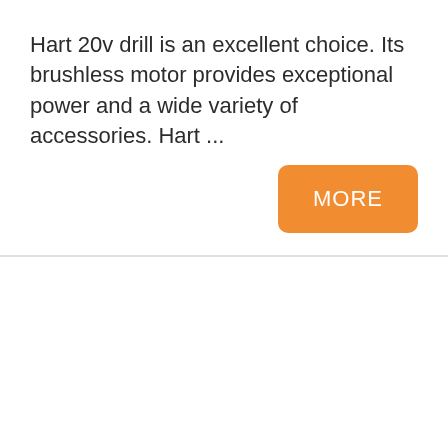Hart 20v drill is an excellent choice. Its brushless motor provides exceptional power and a wide variety of accessories. Hart ...
[Figure (other): Orange 'MORE' button]
Bosch Cordless Rotary Hammer Drill
[Figure (photo): Photo of a Bosch cordless rotary hammer drill being used on a surface, showing the drill bit and blue drill body]